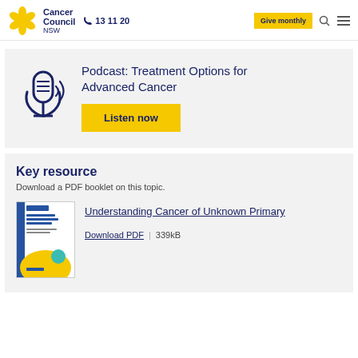Cancer Council NSW | 13 11 20 | Give monthly
[Figure (illustration): Podcast microphone icon with sound waves, Cancer Council NSW branding section]
Podcast: Treatment Options for Advanced Cancer
Listen now
Key resource
Download a PDF booklet on this topic.
[Figure (illustration): Booklet cover: Understanding Cancer of Unknown Primary, Cancer Council NSW publication]
Understanding Cancer of Unknown Primary
Download PDF | 339kB